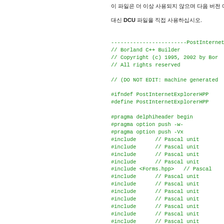이 파일은 더 이상 사용되지 않으며 다음 버전 에서 없어질.
대신 DCU 파일을 직접 사용하십시오.
------------------------PostInternetExplorer.hpp-
// Borland C++ Builder
// Copyright (c) 1995, 2002 by Bor
// All rights reserved

// (DO NOT EDIT: machine generated

#ifndef PostInternetExplorerHPP
#define PostInternetExplorerHPP

#pragma delphiheader begin
#pragma option push -w-
#pragma option push -Vx
#include      // Pascal unit
#include      // Pascal unit
#include      // Pascal unit
#include      // Pascal unit
#include <Forms.hpp>   // Pascal
#include      // Pascal unit
#include      // Pascal unit
#include      // Pascal unit
#include      // Pascal unit
#include      // Pascal unit
#include      // Pascal unit
#include      // Pascal unit
#include      // Pascal unit

//-- user supplied ----------